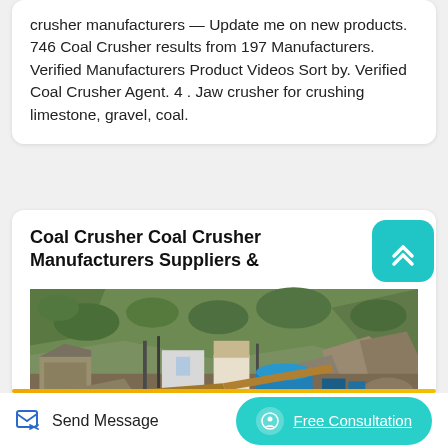crusher manufacturers — Update me on new products. 746 Coal Crusher results from 197 Manufacturers. Verified Manufacturers Product Videos Sort by. Verified Coal Crusher Agent. 4 . Jaw crusher for crushing limestone, gravel, coal.
Coal Crusher Coal Crusher Manufacturers Suppliers &
[Figure (photo): Industrial photo of a coal crushing facility with machinery, buildings, blue tanks, and a rocky hillside with vegetation in the background.]
Send Message
Free Consultation